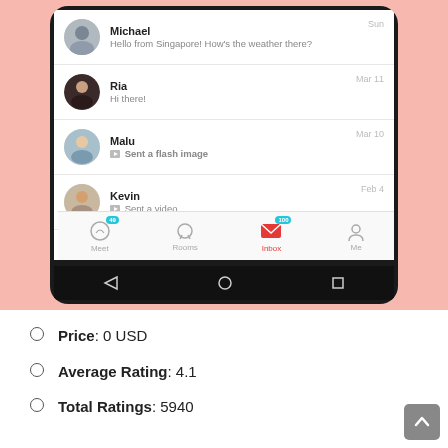[Figure (screenshot): Mobile app screenshot showing an inbox/messages list with contacts: Michael (Sun - Hello from Singapore! How's the weather there?), Ria (Mar 11 - Hi there!), Malu (Mar 10 - Sent a flash image), Kevin (Feb 4 - Sent a video). Bottom navigation bar with Meet, Rooms, Inbox (active, red envelope icon with badge 100), Me tabs. Android navigation bar at bottom.]
Price: 0 USD
Average Rating: 4.1
Total Ratings: 5940